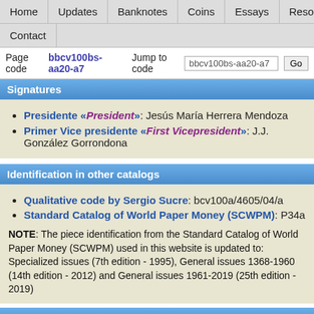Home | Updates | Banknotes | Coins | Essays | Resources | Sections | Contact
Page code bbcv100bs-aa20-a7   Jump to code bbcv100bs-aa20-a7   Go
Signatures
Presidente «President»: Jesús María Herrera Mendoza
Primer Vice presidente «First Vicepresident»: J.J. González Gorrondona
Identification in other catalogs
Qualitative code by Sergio Sucre: bcv100a/4605/04/a
Standard Catalog of World Paper Money (SCWPM): P34a
NOTE: The piece identification from the Standard Catalog of World Paper Money (SCWPM) used in this website is updated to: Specialized issues (7th edition - 1995), General issues 1368-1960 (14th edition - 2012) and General issues 1961-2019 (25th edition - 2019)
Recommended bibliography